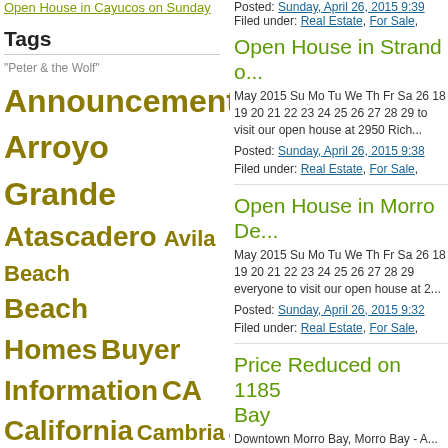Open House in Cayucos on Sunday
Posted: Sunday, April 26, 2015 9:39 Filed under: Real Estate, For Sale,
Tags
"Peter & the Wolf"
Announcements
Arroyo Grande
Atascadero
Avila Beach
Beach Homes
Buyer Information
CA
California
Cambria
Car Wash
Cayucos
Cayucos Rotary
Cayucos School
Central Coast
Chinese New Year
Clean Air
Community Information
cultural events
Easter
Economy
estero bay happeings
estero bay happenings
Open House in Strand o...
May 2015 Su Mo Tu We Th Fr Sa 26 18 19 20 21 22 23 24 25 26 27 28 29 to visit our open house at 2950 Rich...
Posted: Sunday, April 26, 2015 9:38 Filed under: Real Estate, For Sale,
Open House in Morro De...
May 2015 Su Mo Tu We Th Fr Sa 26 18 19 20 21 22 23 24 25 26 27 28 29 everyone to visit our open house at 2...
Posted: Sunday, April 26, 2015 9:32 Filed under: Real Estate, For Sale,
Price Reduced on 1185 Bay
Downtown Morro Bay, Morro Bay - A...